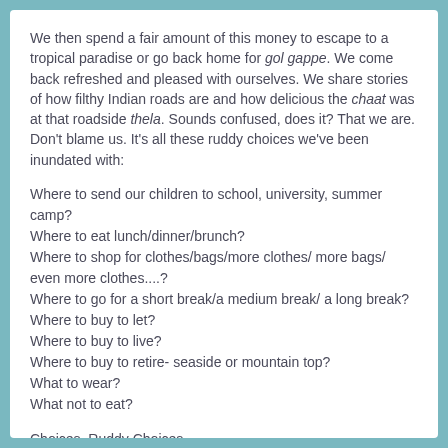We then spend a fair amount of this money to escape to a tropical paradise or go back home for gol gappe. We come back refreshed and pleased with ourselves. We share stories of how filthy Indian roads are and how delicious the chaat was at that roadside thela. Sounds confused, does it? That we are. Don't blame us. It's all these ruddy choices we've been inundated with:
Where to send our children to school, university, summer camp?
Where to eat lunch/dinner/brunch?
Where to shop for clothes/bags/more clothes/ more bags/ even more clothes....?
Where to go for a short break/a medium break/ a long break?
Where to buy to let?
Where to buy to live?
Where to buy to retire- seaside or mountain top?
What to wear?
What not to eat?
Choices. Ruddy Choices